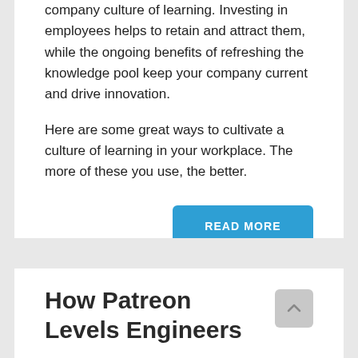company culture of learning. Investing in employees helps to retain and attract them, while the ongoing benefits of refreshing the knowledge pool keep your company current and drive innovation.
Here are some great ways to cultivate a culture of learning in your workplace. The more of these you use, the better.
READ MORE
How Patreon Levels Engineers